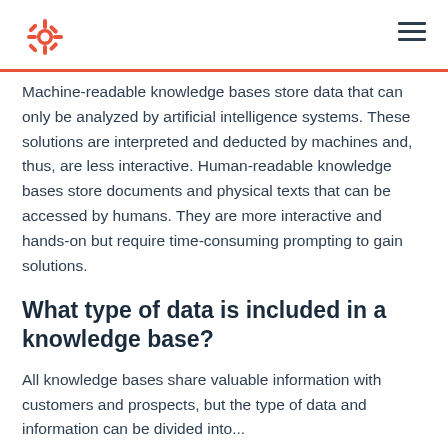HubSpot logo and navigation
Machine-readable knowledge bases store data that can only be analyzed by artificial intelligence systems. These solutions are interpreted and deducted by machines and, thus, are less interactive. Human-readable knowledge bases store documents and physical texts that can be accessed by humans. They are more interactive and hands-on but require time-consuming prompting to gain solutions.
What type of data is included in a knowledge base?
All knowledge bases share valuable information with customers and prospects, but the type of data and information can be divided into...